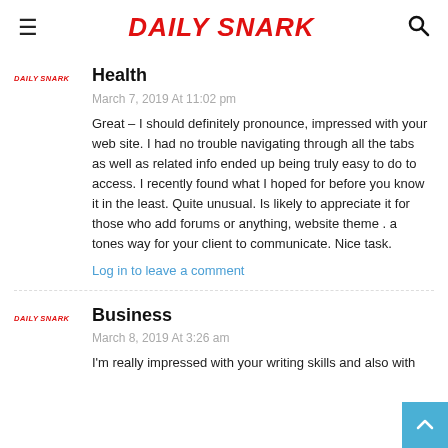DAILY SNARK
Health
March 7, 2019 At 11:02 pm
Great – I should definitely pronounce, impressed with your web site. I had no trouble navigating through all the tabs as well as related info ended up being truly easy to do to access. I recently found what I hoped for before you know it in the least. Quite unusual. Is likely to appreciate it for those who add forums or anything, website theme . a tones way for your client to communicate. Nice task.
Log in to leave a comment
Business
March 8, 2019 At 3:26 am
I'm really impressed with your writing skills and also with